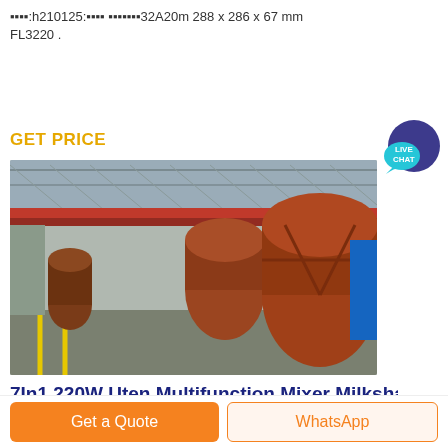▪▪▪▪:h210125:▪▪▪▪ ▪▪▪▪▪▪▪32A20m 288 x 286 x 67 mm FL3220 .
GET PRICE
[Figure (photo): Industrial factory scene showing large cylindrical rotary drum/mixer equipment on the floor of a large warehouse/factory building with metal framework structure overhead and a red overhead crane.]
7In1 220W Uten Multifunction Mixer Milksha
7 IN 1 Uten BLENDERS: Ideal as a blender, a grinder, a
Get a Quote
WhatsApp